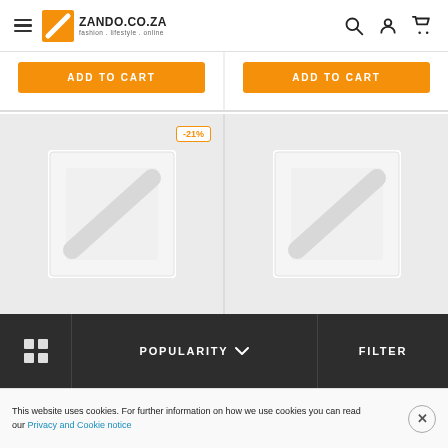ZANDO.CO.ZA — fashion . lifestyle . online
[Figure (screenshot): Two ADD TO CART orange buttons on white product cards]
[Figure (screenshot): Two product image placeholders with Zando logo watermark; left card shows -21% discount badge]
POPULARITY
FILTER
This website uses cookies. For further information on how we use cookies you can read our Privacy and Cookie notice